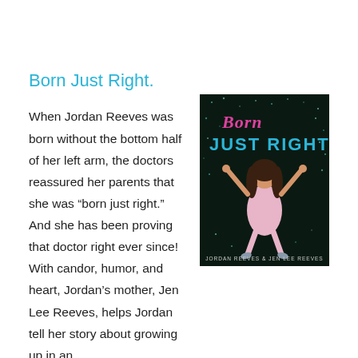Born Just Right.
When Jordan Reeves was born without the bottom half of her left arm, the doctors reassured her parents that she was “born just right.” And she has been proving that doctor right ever since! With candor, humor, and heart, Jordan’s mother, Jen Lee Reeves, helps Jordan tell her story about growing up in an able-bodied world and family, where she was treated like all of her siblings and classmates–and where she never felt limited. Whether it was learning to participate in school
[Figure (photo): Book cover of 'Born Just Right' by Jordan Reeves & Jen Lee Reeves. Shows a young girl in a pink dress jumping joyfully against a dark sparkly background. The title 'Born Just Right' is in pink and teal lettering at the top.]